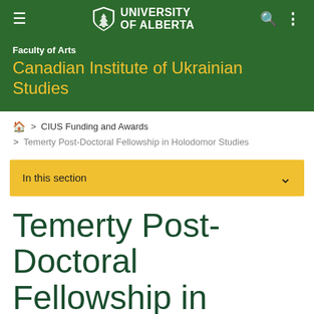University of Alberta
Faculty of Arts
Canadian Institute of Ukrainian Studies
🏠 > CIUS Funding and Awards
> Temerty Post-Doctoral Fellowship in Holodomor Studies
In this section
Temerty Post-Doctoral Fellowship in Holodomor